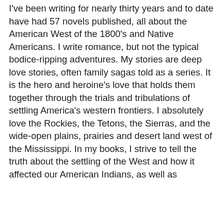I've been writing for nearly thirty years and to date have had 57 novels published, all about the American West of the 1800's and Native Americans. I write romance, but not the typical bodice-ripping adventures. My stories are deep love stories, often family sagas told as a series. It is the hero and heroine's love that holds them together through the trials and tribulations of settling America's western frontiers. I absolutely love the Rockies, the Tetons, the Sierras, and the wide-open plains, prairies and desert land west of the Mississippi. In my books, I strive to tell the truth about the settling of the West and how it affected our American Indians, as well as